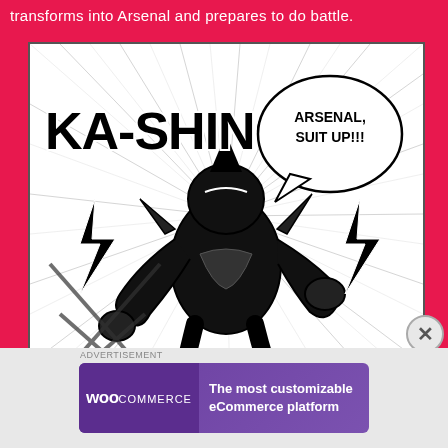transforms into Arsenal and prepares to do battle.
[Figure (illustration): Black and white manga-style comic panel showing a superhero character (Arsenal) in a battle pose with action lines radiating outward. Large sound effect text 'KA-SHING' in bold letters. A speech bubble reads 'ARSENAL, SUIT UP!!!']
[Figure (logo): WooCommerce advertisement banner with purple background. Left side shows WooCommerce logo in white text. Right side reads 'The most customizable eCommerce platform' in white text.]